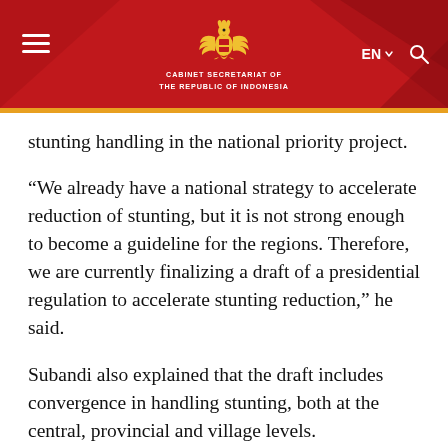Cabinet Secretariat of the Republic of Indonesia
stunting handling in the national priority project.
“We already have a national strategy to accelerate reduction of stunting, but it is not strong enough to become a guideline for the regions. Therefore, we are currently finalizing a draft of a presidential regulation to accelerate stunting reduction,” he said.
Subandi also explained that the draft includes convergence in handling stunting, both at the central, provincial and village levels.
The presidential regulation will use the existing